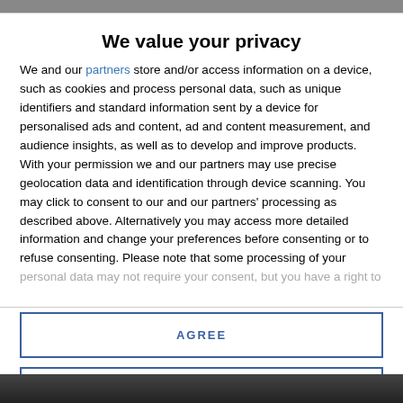We value your privacy
We and our partners store and/or access information on a device, such as cookies and process personal data, such as unique identifiers and standard information sent by a device for personalised ads and content, ad and content measurement, and audience insights, as well as to develop and improve products. With your permission we and our partners may use precise geolocation data and identification through device scanning. You may click to consent to our and our partners' processing as described above. Alternatively you may access more detailed information and change your preferences before consenting or to refuse consenting. Please note that some processing of your personal data may not require your consent, but you have a right to
AGREE
MORE OPTIONS
[Figure (photo): Dark photo visible at the bottom of the page behind the modal overlay]